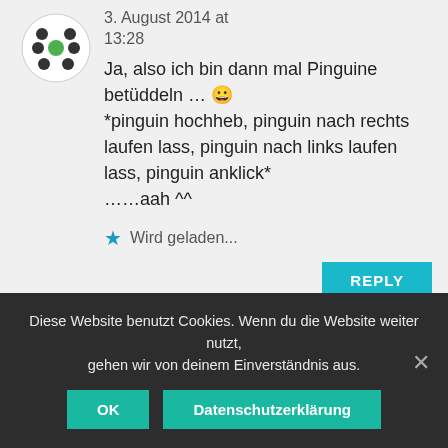[Figure (illustration): Round avatar with dark dots arranged in a circle pattern on white background, with a green dot in the center]
3. August 2014 at 13:28
Ja, also ich bin dann mal Pinguine betüddeln … 😀 *pinguin hochheb, pinguin nach rechts laufen lass, pinguin nach links laufen lass, pinguin anklick* ……aah ^^
★ Wird geladen...
REPLY
Diese Website benutzt Cookies. Wenn du die Website weiter nutzt, gehen wir von deinem Einverständnis aus.
OK
Datenschutzerklärung